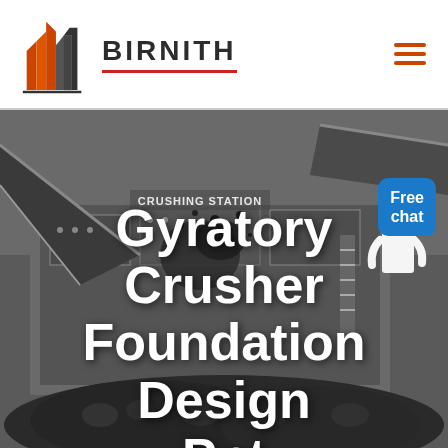BIRNITH
[Figure (photo): Industrial gyratory crusher / crushing station machinery in operation, dark grey tones, coal/aggregate piles in foreground, conveyor belts and heavy equipment visible, 'CRUSHING STATION' text on machine, customer service representative figure visible on right side]
Gyratory Crusher Foundation Design Ppt